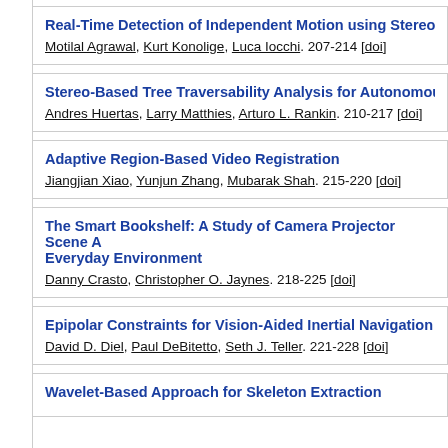Real-Time Detection of Independent Motion using Stereo
Motilal Agrawal, Kurt Konolige, Luca Iocchi. 207-214 [doi]
Stereo-Based Tree Traversability Analysis for Autonomous
Andres Huertas, Larry Matthies, Arturo L. Rankin. 210-217 [doi]
Adaptive Region-Based Video Registration
Jiangjian Xiao, Yunjun Zhang, Mubarak Shah. 215-220 [doi]
The Smart Bookshelf: A Study of Camera Projector Scene A... Everyday Environment
Danny Crasto, Christopher O. Jaynes. 218-225 [doi]
Epipolar Constraints for Vision-Aided Inertial Navigation
David D. Diel, Paul DeBitetto, Seth J. Teller. 221-228 [doi]
Wavelet-Based Approach for Skeleton Extraction